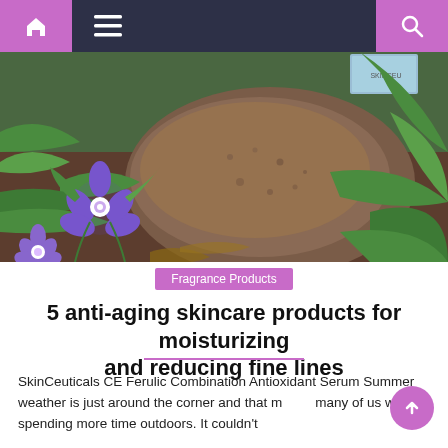Navigation bar with home, menu, and search icons
[Figure (photo): Close-up photo of purple periwinkle flowers and green leaves around a large brown mossy rock outdoors, with a blue product box visible in the background.]
Fragrance Products
5 anti-aging skincare products for moisturizing and reducing fine lines
SkinCeuticals CE Ferulic Combination Antioxidant Serum Summer weather is just around the corner and that means many of us will be spending more time outdoors. It couldn't